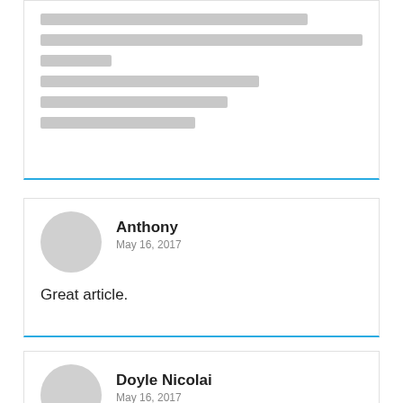[redacted content lines — comment block 1]
Anthony
May 16, 2017
Great article.
Doyle Nicolai
May 16, 2017
I was suggested this web site by my cousin. I'm not sure whether this post is written by him as nobody else know